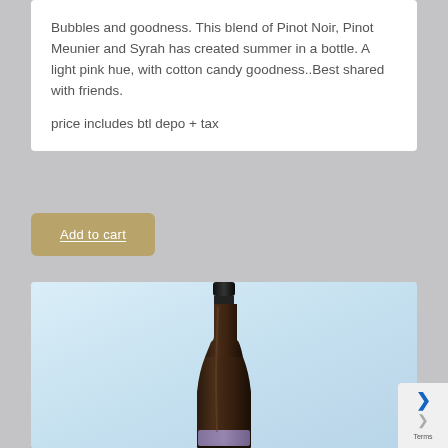Bubbles and goodness. This blend of Pinot Noir, Pinot Meunier and Syrah has created summer in a bottle. A light pink hue, with cotton candy goodness..Best shared with friends.

price includes btl depo + tax
Add to cart
[Figure (photo): A dark wine bottle with black cap/foil top and a light purple/lavender label at the bottom, displayed against a light blue gradient background.]